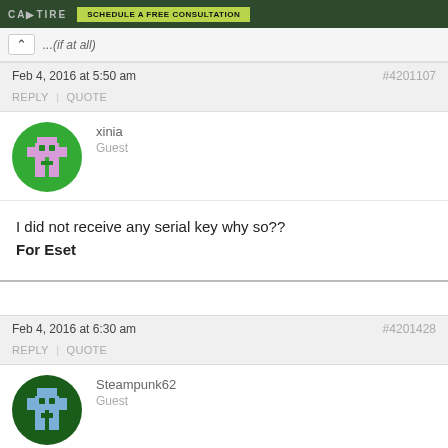CAPTIRE | SCHEDULE A FREE CONSULTATION
...(if at all)
Feb 4, 2016 at 5:50 am  #4201107  REPLY | QUOTE
xinia
Guest
[Figure (illustration): Green circular avatar with pink pixel-art robot/character icon]
I did not receive any serial key why so??
For Eset
Feb 4, 2016 at 6:30 am  #4201428  REPLY | QUOTE
Steampunk62
Guest
[Figure (illustration): Dark green circular avatar with blue pixel-art robot/character icon]
Downloasded it first day but was in rush so didn't got it